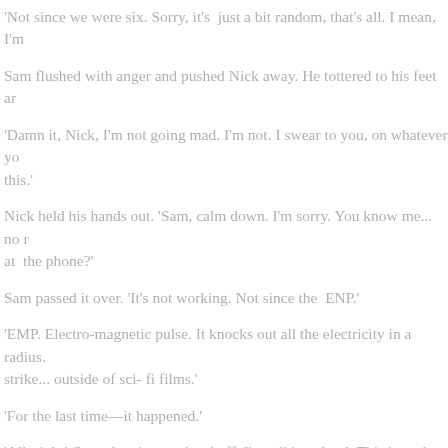'Not since we were six. Sorry, it's just a bit random, that's all. I mean, I'm
Sam flushed with anger and pushed Nick away. He tottered to his feet ar
'Damn it, Nick, I'm not going mad. I'm not. I swear to you, on whatever yo this.'
Nick held his hands out. 'Sam, calm down. I'm sorry. You know me... no r at the phone?'
Sam passed it over. 'It's not working. Not since the ENP.'
'EMP. Electro-magnetic pulse. It knocks out all the electricity in a radius. strike... outside of sci-fi films.'
'For the last time—it happened.'
'All right! Stop chewing my head off. I'm talking aloud. This is such a wei just this slot in its side.'
Sam shivered and Nick looked in concern at him. Every instinct told Nick